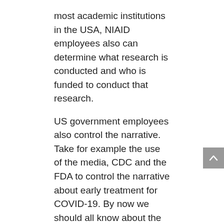most academic institutions in the USA, NIAID employees also can determine what research is conducted and who is funded to conduct that research.
US government employees also control the narrative. Take for example the use of the media, CDC and the FDA to control the narrative about early treatment for COVID-19. By now we should all know about the corruption of the early clinical trials of hydroxychloroquine. On the basis of these faked studies, one of the safest drugs in the world was recommended to not be used in an out patient setting – most likely, in order to increase vaccine acceptance. Or how our government used propaganda to control the use of ivermectin by such tactics as calling it unfit for human use and labelling it as a “horse wormer.” All indications are that these efforts by the US government were to dissuade early